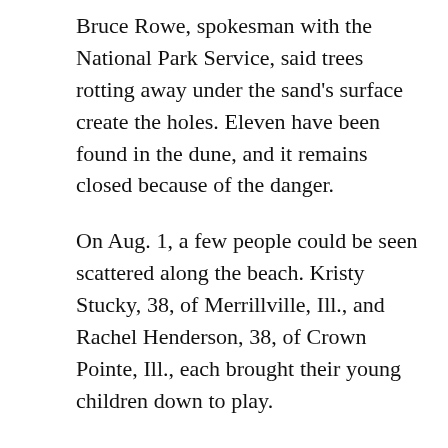Bruce Rowe, spokesman with the National Park Service, said trees rotting away under the sand's surface create the holes. Eleven have been found in the dune, and it remains closed because of the danger.
On Aug. 1, a few people could be seen scattered along the beach. Kristy Stucky, 38, of Merrillville, Ill., and Rachel Henderson, 38, of Crown Pointe, Ill., each brought their young children down to play.
The mothers said they came to the Mt. Baldy beach because it's not as crowded as the nearby state park, there's no charge, and they can bring a dog. And also because it just re-opened.